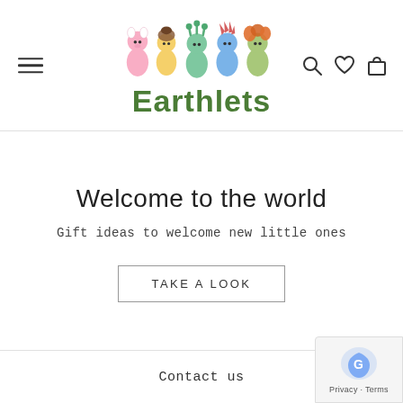[Figure (logo): Earthlets brand logo with five colorful toy characters (pink bear, yellow acorn, green plant, blue spiky, green hair) and the word 'Earthlets' in green below]
[Figure (other): Hamburger menu icon (three horizontal lines) on the left side of the header]
[Figure (other): Navigation icons: search (magnifying glass), wishlist (heart), and cart (bag) on the right side of the header]
Welcome to the world
Gift ideas to welcome new little ones
TAKE A LOOK
Contact us